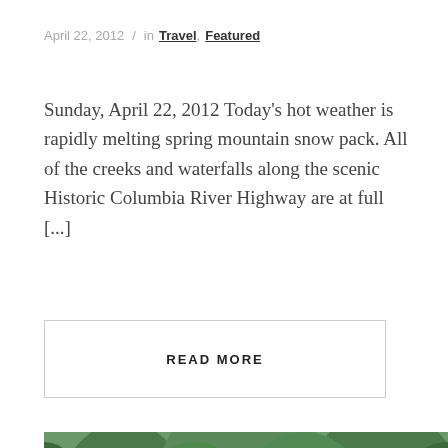April 22, 2012 / in Travel, Featured
Sunday, April 22, 2012 Today's hot weather is rapidly melting spring mountain snow pack.  All of the creeks and waterfalls along the scenic Historic Columbia River Highway are at full [...]
READ MORE
[Figure (photo): Dense green forest with tall conifers, moss-covered trees, and a creek visible through the trees]